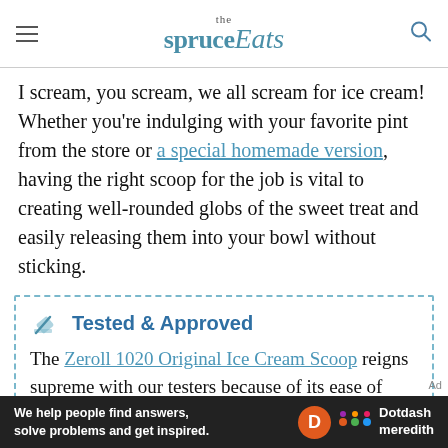the spruce Eats
I scream, you scream, we all scream for ice cream! Whether you're indulging with your favorite pint from the store or a special homemade version, having the right scoop for the job is vital to creating well-rounded globs of the sweet treat and easily releasing them into your bowl without sticking.
Tested & Approved
The Zeroll 1020 Original Ice Cream Scoop reigns supreme with our testers because of its ease of scooping even the hardest of ice
[Figure (logo): Dotdash Meredith advertisement banner at bottom of page]